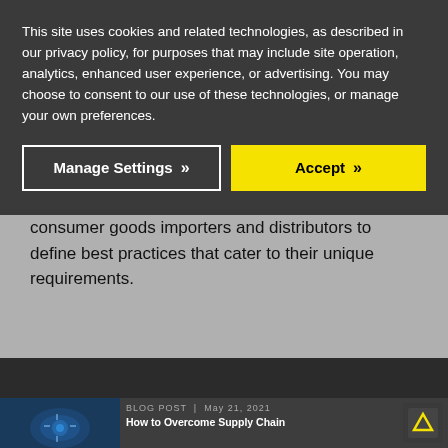This site uses cookies and related technologies, as described in our privacy policy, for purposes that may include site operation, analytics, enhanced user experience, or advertising. You may choose to consent to our use of these technologies, or manage your own preferences.
Manage Settings >>
Accept >>
consumer goods importers and distributors to define best practices that cater to their unique requirements.
Related Articles
BLOG POST | May 21, 2021
How to Overcome Supply Chain